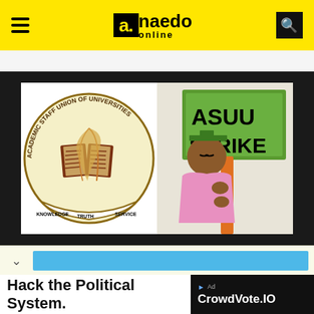a.naedo online
[Figure (illustration): ASUU (Academic Staff Union of Universities) logo on the left showing an open book with a quill and a circular emblem reading KNOWLEDGE TRUTH SERVICE, and on the right a cartoon illustration of a student in graduation cap holding a sign reading ASUU STRIKE]
Hack the Political System.
CrowdVote.IO